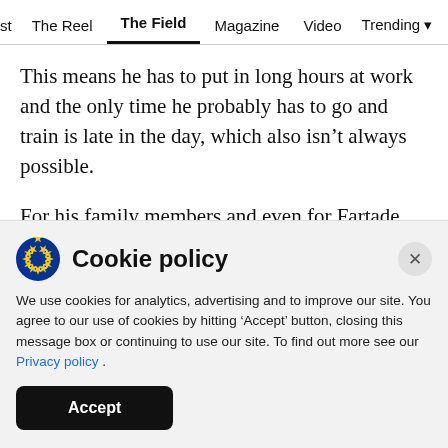st  The Reel  The Field  Magazine  Video  Trending  Se
This means he has to put in long hours at work and the only time he probably has to go and train is late in the day, which also isn't always possible.
For his family members and even for Fartade, his job means a lot given his financially poor background. In fact, he could take up the sport only
[Figure (screenshot): Cookie policy banner with EU flag icon, close button, body text about cookie usage, Privacy policy link, and Accept button]
Cookie policy
We use cookies for analytics, advertising and to improve our site. You agree to our use of cookies by hitting 'Accept' button, closing this message box or continuing to use our site. To find out more see our Privacy policy .
Accept